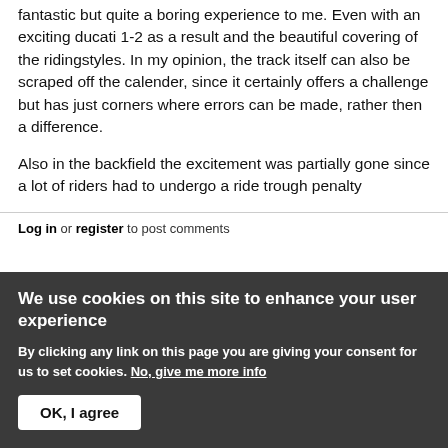fantastic but quite a boring experience to me. Even with an exciting ducati 1-2 as a result and the beautiful covering of the ridingstyles.  In my opinion, the track itself can also be scraped off the calender, since it certainly offers a challenge but has just corners where errors can be made, rather then a difference.

Also in the backfield the excitement was partially gone since a lot of riders had to undergo a ride trough penalty
Log in or register to post comments
We use cookies on this site to enhance your user experience
By clicking any link on this page you are giving your consent for us to set cookies. No, give me more info
OK, I agree